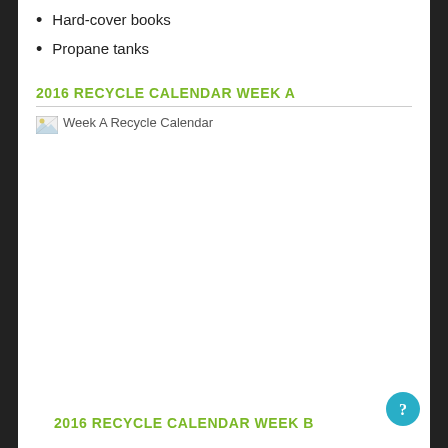Hard-cover books
Propane tanks
2016 RECYCLE CALENDAR WEEK A
[Figure (other): Broken image placeholder labeled 'Week A Recycle Calendar']
2016 RECYCLE CALENDAR WEEK B